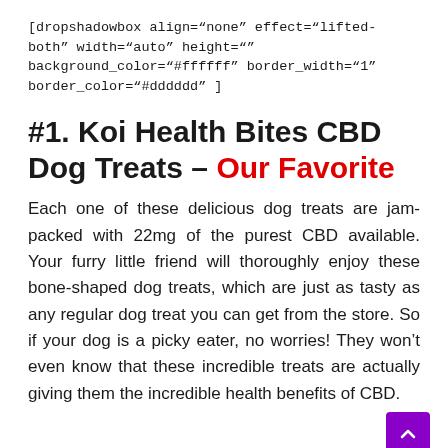[dropshadowbox align="none" effect="lifted-both" width="auto" height="" background_color="#ffffff" border_width="1" border_color="#dddddd" ]
#1. Koi Health Bites CBD Dog Treats – Our Favorite
Each one of these delicious dog treats are jam-packed with 22mg of the purest CBD available. Your furry little friend will thoroughly enjoy these bone-shaped dog treats, which are just as tasty as any regular dog treat you can get from the store. So if your dog is a picky eater, no worries! They won't even know that these incredible treats are actually giving them the incredible health benefits of CBD.